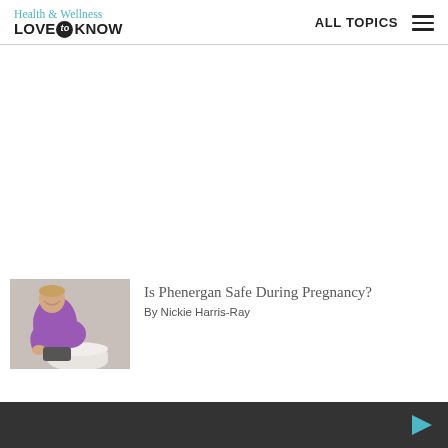Health & Wellness LOVE to KNOW — ALL TOPICS
[Figure (other): Advertisement placeholder area, blank white space]
[Figure (photo): Pregnant woman in purple top leaning over toilet, appearing nauseous]
Is Phenergan Safe During Pregnancy?
By Nickie Harris-Ray
[Figure (other): Dark bottom bar with a triangular play button icon on the right side]